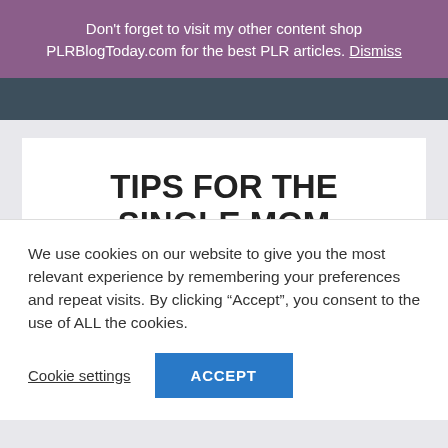Don't forget to visit my other content shop PLRBlogToday.com for the best PLR articles. Dismiss
TIPS FOR THE SINGLE MOM WORKING FROM HOME
We use cookies on our website to give you the most relevant experience by remembering your preferences and repeat visits. By clicking “Accept”, you consent to the use of ALL the cookies.
Cookie settings  ACCEPT